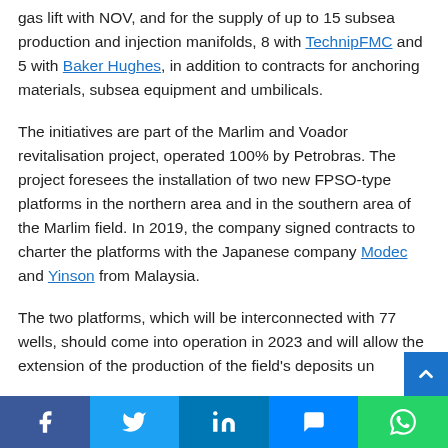gas lift with NOV, and for the supply of up to 15 subsea production and injection manifolds, 8 with TechnipFMC and 5 with Baker Hughes, in addition to contracts for anchoring materials, subsea equipment and umbilicals.
The initiatives are part of the Marlim and Voador revitalisation project, operated 100% by Petrobras. The project foresees the installation of two new FPSO-type platforms in the northern area and in the southern area of the Marlim field. In 2019, the company signed contracts to charter the platforms with the Japanese company Modec and Yinson from Malaysia.
The two platforms, which will be interconnected with 77 wells, should come into operation in 2023 and will allow the extension of the production of the field's deposits un...